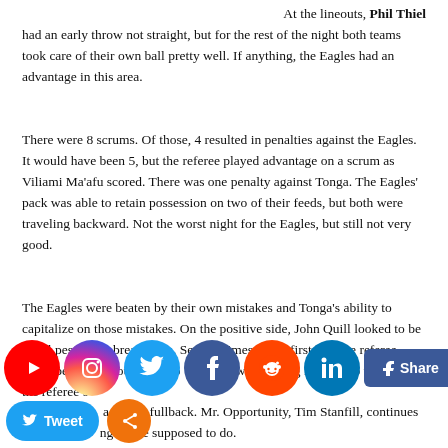At the lineouts, Phil Thiel had an early throw not straight, but for the rest of the night both teams took care of their own ball pretty well. If anything, the Eagles had an advantage in this area.
There were 8 scrums. Of those, 4 resulted in penalties against the Eagles. It would have been 5, but the referee played advantage on a scrum as Viliami Ma'afu scored. There was one penalty against Tonga. The Eagles' pack was able to retain possession on two of their feeds, but both were traveling backward. Not the worst night for the Eagles, but still not very good.
The Eagles were beaten by their own mistakes and Tonga's ability to capitalize on those mistakes. On the positive side, John Quill looked to be a real pest at the breakdown. Several times in the first half the referee could be heard shouting, "No 7!" Quill was playing right up to the edge of the referee's tolerance. [continues to look good in ...] as a player fullback. Mr. Opportunity, Tim Stanfill, continues to do what wingers are supposed to do.
[Figure (other): Social media sharing buttons overlay: YouTube, Instagram, Twitter, Facebook, Reddit, LinkedIn icons plus Facebook Share and LinkedIn Share buttons, and a Tweet button with share circle below]